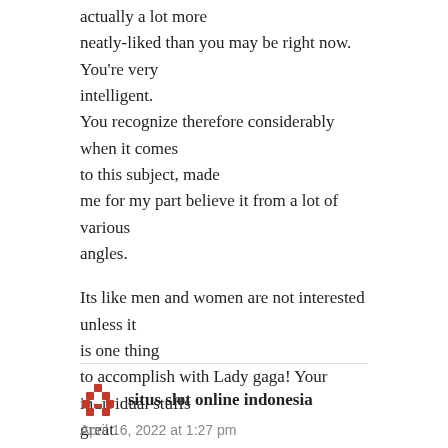actually a lot more neatly-liked than you may be right now. You're very intelligent. You recognize therefore considerably when it comes to this subject, made me for my part believe it from a lot of various angles.
Its like men and women are not interested unless it is one thing to accomplish with Lady gaga! Your individual stuffs great. At all times deal with it up!
REPLY
situs slot online indonesia
April 16, 2022 at 1:27 pm